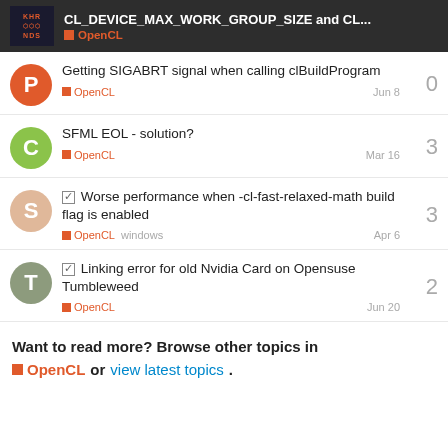CL_DEVICE_MAX_WORK_GROUP_SIZE and CL... OpenCL
Getting SIGABRT signal when calling clBuildProgram | OpenCL | Jun 8 | replies: 0
SFML EOL - solution? | OpenCL | Mar 16 | replies: 3
[solved] Worse performance when -cl-fast-relaxed-math build flag is enabled | OpenCL windows | Apr 6 | replies: 3
[solved] Linking error for old Nvidia Card on Opensuse Tumbleweed | OpenCL | Jun 20 | replies: 2
Want to read more? Browse other topics in OpenCL or view latest topics.